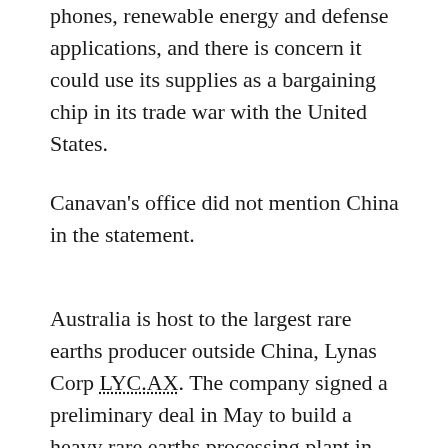phones, renewable energy and defense applications, and there is concern it could use its supplies as a bargaining chip in its trade war with the United States.
Canavan's office did not mention China in the statement.
Australia is host to the largest rare earths producer outside China, Lynas Corp LYC.AX. The company signed a preliminary deal in May to build a heavy rare earths processing plant in Texas.
Australian and U.S. mineral agencies signed a deal on Tuesday to jointly develop a better understanding of their critical minerals reserves.